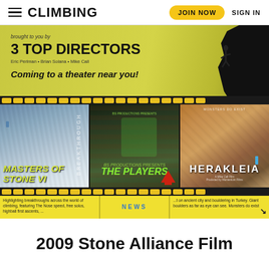CLIMBING  |  JOIN NOW  SIGN IN
[Figure (illustration): Yellow-green banner advertisement: brought to you by 3 TOP DIRECTORS, Eric Perlman • Brian Solana • Mike Call, Coming to a theater near you! With a silhouette of a rock climber on the right side.]
[Figure (photo): Three movie poster images side by side on a film strip background: Masters of Stone VI (rock climbing), The Players (climber on brick wall), and Herakleia (ancient city bouldering in Turkey).]
Highlighting breakthroughs across the world of climbing, featuring The Nose speed, free solos, highball first ascents, ...   NEWS   ...t on ancient city and bouldering in Turkey. Giant boulders as far as eye can see. Monsters do exist
2009 Stone Alliance Film